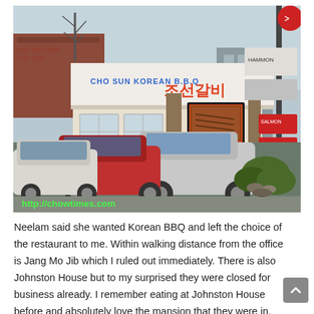[Figure (photo): Exterior photo of Cho Sun Korean BBQ restaurant (조선갈비) with a parking lot in front containing several cars including a silver Ford Taurus and a red car. The storefront has a white awning with the restaurant name in English and Korean characters. A watermark reads http://chowtimes.com in green text at the bottom left.]
Neelam said she wanted Korean BBQ and left the choice of the restaurant to me. Within walking distance from the office is Jang Mo Jib which I ruled out immediately. There is also Johnston House but to my surprised they were closed for business already. I remember eating at Johnston House before and absolutely love the mansion that they were in.